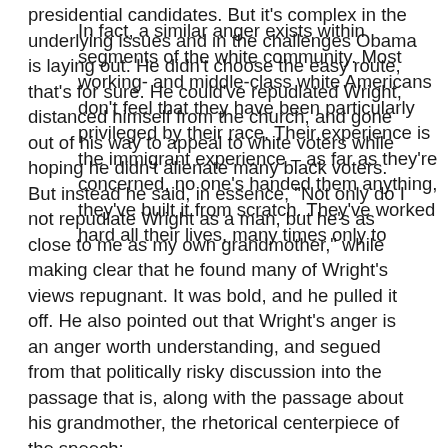presidential candidates. But it's complex in the underlying issues and in the challenges Obama is laying out. He didn't choose the easy route, that's for sure. He could've repudiated Wright, distanced himself from the church, and gone out of his way to appeal to white voters while hoping he didn't alienate many black voters. But instead he said, in essence, "Not only do I not repudiate Wright as a man, but he's as close to me as my own grandmother," while making clear that he found many of Wright's views repugnant. It was bold, and he pulled it off. He also pointed out that Wright's anger is an anger worth understanding, and segued from that politically risky discussion into the passage that is, along with the passage about his grandmother, the rhetorical centerpiece of the speech:
In fact, a similar anger exists within segments of the white community. Most working- and middle-class white Americans don't feel that they have been particularly privileged by their race. Their experience is the immigrant experience – as far as they're concerned, no one's handed them anything, they've built it from scratch. They've worked hard all their lives, many times only to